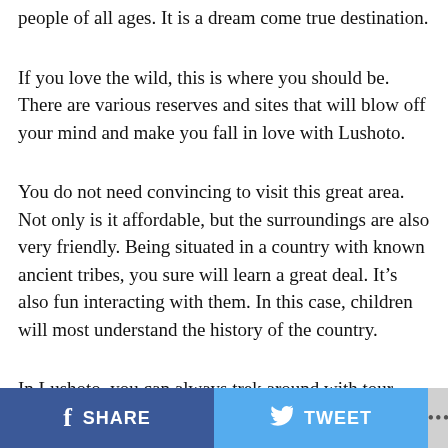people of all ages. It is a dream come true destination.
If you love the wild, this is where you should be. There are various reserves and sites that will blow off your mind and make you fall in love with Lushoto.
You do not need convincing to visit this great area. Not only is it affordable, but the surroundings are also very friendly. Being situated in a country with known ancient tribes, you sure will learn a great deal. It’s also fun interacting with them. In this case, children will most understand the history of the country.
In Lushoto, you can always trek around with tour guides who show you the area as well as explain to you everything you need to know about their country and the
SHARE   TWEET   ...